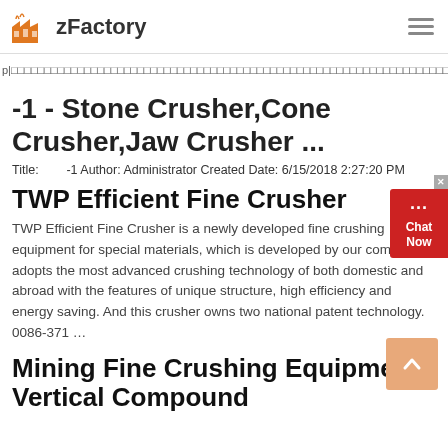zFactory
p|□□□□□□□□□□□□□□□□□□□□□□□□□□□□□□□□□□□□□□□□□□□□□□□□□□□□□□□□□□□□□□□□□□□□□□□□□□□□□□□□□□□□□□□□□□□□□□□□□□□□
-1 - Stone Crusher,Cone Crusher,Jaw Crusher ...
Title:         -1 Author: Administrator Created Date: 6/15/2018 2:27:20 PM
TWP Efficient Fine Crusher
TWP Efficient Fine Crusher is a newly developed fine crushing equipment for special materials, which is developed by our company. It adopts the most advanced crushing technology of both domestic and abroad with the features of unique structure, high efficiency and energy saving. And this crusher owns two national patent technology. 0086-371 ...
Mining Fine Crushing Equipment Vertical Compound